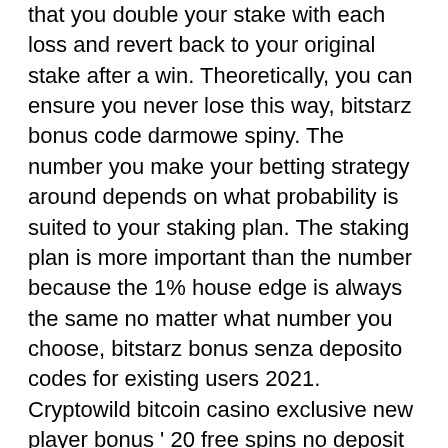that you double your stake with each loss and revert back to your original stake after a win. Theoretically, you can ensure you never lose this way, bitstarz bonus code darmowe spiny. The number you make your betting strategy around depends on what probability is suited to your staking plan. The staking plan is more important than the number because the 1% house edge is always the same no matter what number you choose, bitstarz bonus senza deposito codes for existing users 2021. Cryptowild bitcoin casino exclusive new player bonus ' 20 free spins no deposit and 150 bonus spins offer plus a massive 150% match bonus with your first deposit, bitstarz bonus senza deposito codes. This uber-cool bitcoin casino is full of fun games and fantastic tournaments where you can earn brilliant bitcoin prizes and bonus spins! Genre: quiz Platform: browser